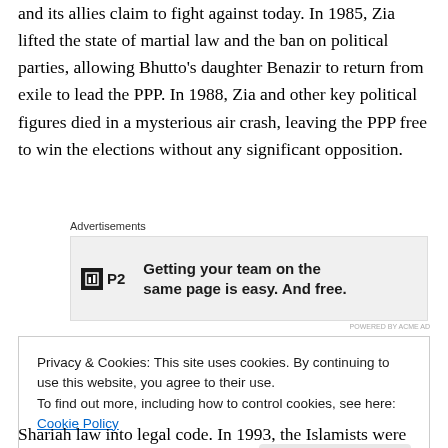and its allies claim to fight against today. In 1985, Zia lifted the state of martial law and the ban on political parties, allowing Bhutto's daughter Benazir to return from exile to lead the PPP. In 1988, Zia and other key political figures died in a mysterious air crash, leaving the PPP free to win the elections without any significant opposition.
[Figure (other): Advertisement banner for P2 with text: Getting your team on the same page is easy. And free.]
Privacy & Cookies: This site uses cookies. By continuing to use this website, you agree to their use.
To find out more, including how to control cookies, see here: Cookie Policy
Shariah law into legal code. In 1993, the Islamists were